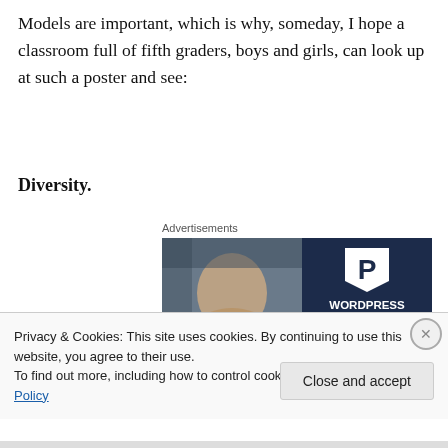Models are important, which is why, someday, I hope a classroom full of fifth graders, boys and girls, can look up at such a poster and see:
Diversity.
Advertisements
[Figure (photo): Advertisement for WordPress Hosting showing a smiling woman holding an OPEN sign, with a WordPress 'P' logo and text reading 'WORDPRESS HOSTING THAT MEANS BUSINESS']
Privacy & Cookies: This site uses cookies. By continuing to use this website, you agree to their use.
To find out more, including how to control cookies, see here: Cookie Policy
Close and accept